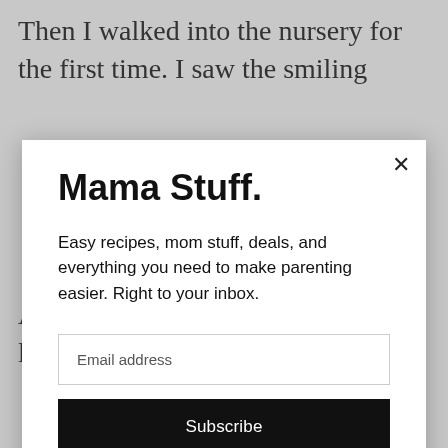Then I walked into the nursery for the first time. I saw the smiling
Mama Stuff.
Easy recipes, mom stuff, deals, and everything you need to make parenting easier. Right to your inbox.
Email address
Subscribe
Ayva was in that program, she learned so much. One day, after she